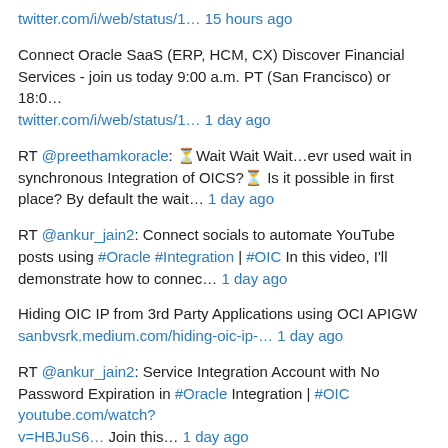twitter.com/i/web/status/1… 15 hours ago
Connect Oracle SaaS (ERP, HCM, CX) Discover Financial Services - join us today 9:00 a.m. PT (San Francisco) or 18:0… twitter.com/i/web/status/1… 1 day ago
RT @preethamkoracle: ⏳Wait Wait Wait…evr used wait in synchronous Integration of OICS?⏳ Is it possible in first place? By default the wait… 1 day ago
RT @ankur_jain2: Connect socials to automate YouTube posts using #Oracle #Integration | #OIC In this video, I'll demonstrate how to connec… 1 day ago
Hiding OIC IP from 3rd Party Applications using OCI APIGW sanbvsrk.medium.com/hiding-oic-ip-… 1 day ago
RT @ankur_jain2: Service Integration Account with No Password Expiration in #Oracle Integration | #OIC youtube.com/watch?v=HBJuS6… Join this… 1 day ago
RT @preethamkoracle: 🤔 Can we implement While loop in